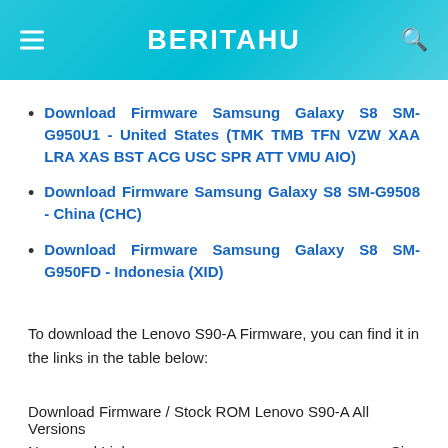BERITAHU
Download Firmware Samsung Galaxy S8 SM-G950U1 - United States (TMK TMB TFN VZW XAA LRA XAS BST ACG USC SPR ATT VMU AIO)
Download Firmware Samsung Galaxy S8 SM-G9508 - China (CHC)
Download Firmware Samsung Galaxy S8 SM-G950FD - Indonesia (XID)
To download the Lenovo S90-A Firmware, you can find it in the links in the table below:
| Name and Links | Size |
| --- | --- |
| LENOVO_S90-A_ROW_S125_141114.ZIP | 1.55 MB |